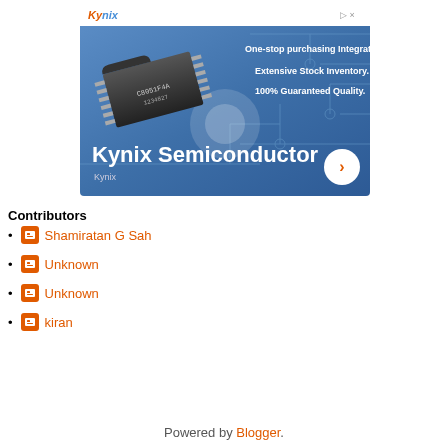[Figure (illustration): Kynix Semiconductor advertisement banner. Blue gradient background with circuit board pattern. Shows a DIP integrated circuit chip image. Text: 'One-stop purchasing Integrated Circuits (ICs).', 'Extensive Stock Inventory.', '100% Guaranteed Quality.', 'Kynix Semiconductor', 'Kynix'. Orange Kynix logo at top left. White circular arrow button at bottom right.]
Contributors
Shamiratan G Sah
Unknown
Unknown
kiran
Powered by Blogger.